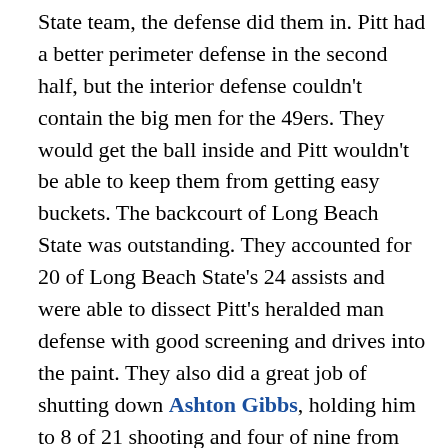State team, the defense did them in. Pitt had a better perimeter defense in the second half, but the interior defense couldn't contain the big men for the 49ers. They would get the ball inside and Pitt wouldn't be able to keep them from getting easy buckets. The backcourt of Long Beach State was outstanding. They accounted for 20 of Long Beach State's 24 assists and were able to dissect Pitt's heralded man defense with good screening and drives into the paint. They also did a great job of shutting down Ashton Gibbs, holding him to 8 of 21 shooting and four of nine from three-point range.
On offense, Pitt was sloppy, turning it over 12 times, including five from Woodall. Four Panthers scored in double figures (Robinson, Gibbs, Woodall, Patterson), but one problem was poor shot selection. Pitt would